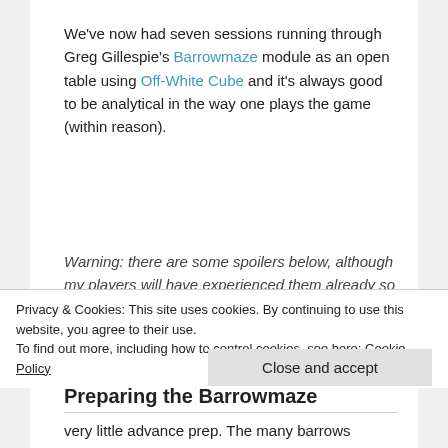We've now had seven sessions running through Greg Gillespie's Barrowmaze module as an open table using Off-White Cube and it's always good to be analytical in the way one plays the game (within reason).
Warning: there are some spoilers below, although my players will have experienced them already so they don't need to worry.
Preparing the Barrowmaze
Privacy & Cookies: This site uses cookies. By continuing to use this website, you agree to their use. To find out more, including how to control cookies, see here: Cookie Policy
Close and accept
very little advance prep. The many barrows